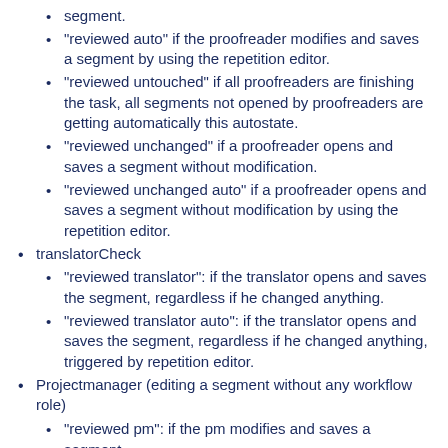segment.
"reviewed auto" if the proofreader modifies and saves a segment by using the repetition editor.
"reviewed untouched" if all proofreaders are finishing the task, all segments not opened by proofreaders are getting automatically this autostate.
"reviewed unchanged" if a proofreader opens and saves a segment without modification.
"reviewed unchanged auto" if a proofreader opens and saves a segment without modification by using the repetition editor.
translatorCheck
"reviewed translator": if the translator opens and saves the segment, regardless if he changed anything.
"reviewed translator auto": if the translator opens and saves the segment, regardless if he changed anything, triggered by repetition editor.
Projectmanager (editing a segment without any workflow role)
"reviewed pm": if the pm modifies and saves a segment.